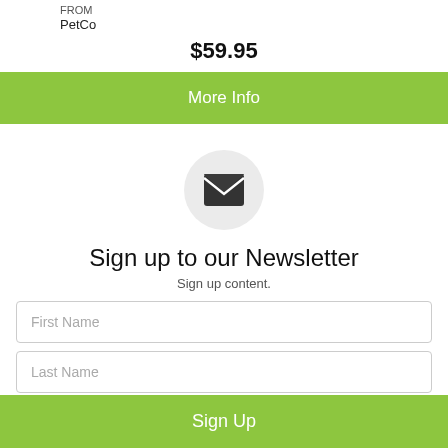FROM
PetCo
$59.95
More Info
[Figure (illustration): Envelope icon inside a light gray circle]
Sign up to our Newsletter
Sign up content.
First Name
Last Name
Email Address
Sign Up